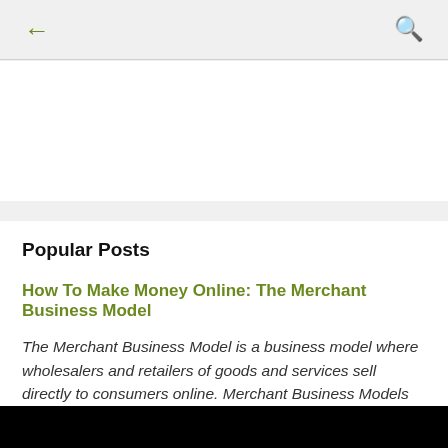← (back arrow)   🔍 (search icon)
Popular Posts
How To Make Money Online: The Merchant Business Model
The Merchant Business Model is a business model where wholesalers and retailers of goods and services sell directly to consumers online. Merchant Business Models are generally those who have merchandise in house or have services that they can ...
[Figure (photo): Black bar at bottom of page, partial image]